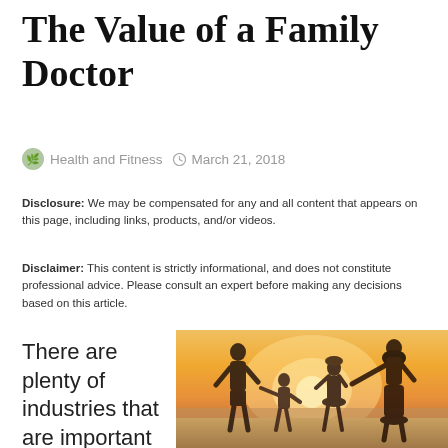The Value of a Family Doctor
Health and Fitness  March 21, 2018
Disclosure: We may be compensated for any and all content that appears on this page, including links, products, and/or videos.
Disclaimer: This content is strictly informational, and does not constitute professional advice. Please consult an expert before making any decisions based on this article.
There are plenty of industries that are important to people's lives and
[Figure (photo): A family of four — a father, mother, young son, and daughter — wearing white clothes, holding hands and walking together on a beach at sunset with warm golden light in the background.]